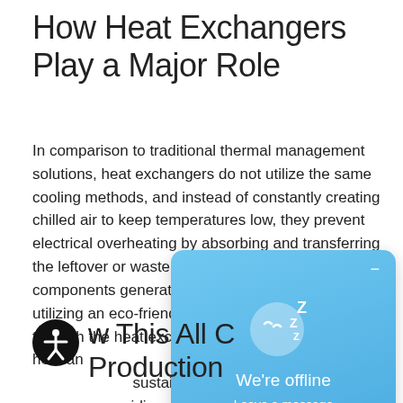How Heat Exchangers Play a Major Role
In comparison to traditional thermal management solutions, heat exchangers do not utilize the same cooling methods, and instead of constantly creating chilled air to keep temperatures low, they prevent electrical overheating by absorbing and transferring the leftover or waste heat that electrical components generate. This process involves utilizing an eco-friendly cooling fluid that flows through the heat exchanger unit, absorbing waste heat and [transferring it] where it can dissipate. T[his makes it more] sustainable than traditio[nal solutions,] providing a more cost an[d eco-friendly option.]
[Figure (screenshot): Chat widget overlay showing an offline status with a sleeping face emoji icon, 'We're offline' text, and 'Leave a message' link on a blue gradient background with a minimize button.]
How This All C[omes Into] Production